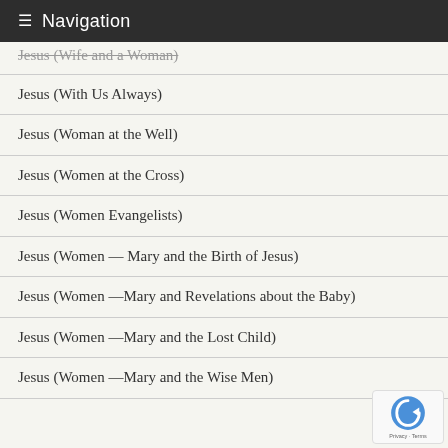Navigation
Jesus (Wife and a Woman)
Jesus (With Us Always)
Jesus (Woman at the Well)
Jesus (Women at the Cross)
Jesus (Women Evangelists)
Jesus (Women — Mary and the Birth of Jesus)
Jesus (Women —Mary and Revelations about the Baby)
Jesus (Women —Mary and the Lost Child)
Jesus (Women —Mary and the Wise Men)